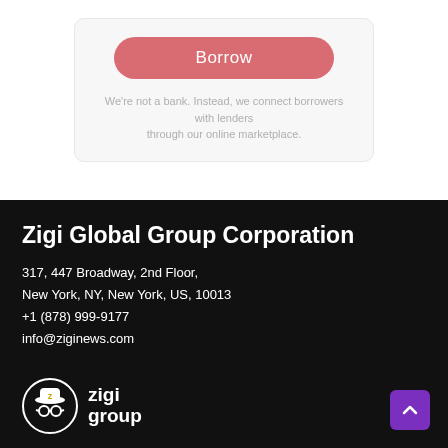[Figure (other): A pink/rose-colored rounded button labeled 'Borrow' inside a light gray card area]
We're not a bank. Instead, we connect borrowers with lenders through our online marketplace.
Zigi Global Group Corporation
317, 447 Broadway, 2nd Floor,
New York, NY, New York, US, 10013
+1 (878) 999-9177
info@ziginews.com
[Figure (logo): Zigi Group logo: circular icon with hat and glasses, with text 'zigi group' beside it]
[Figure (other): Purple back-to-top button with upward chevron arrow]